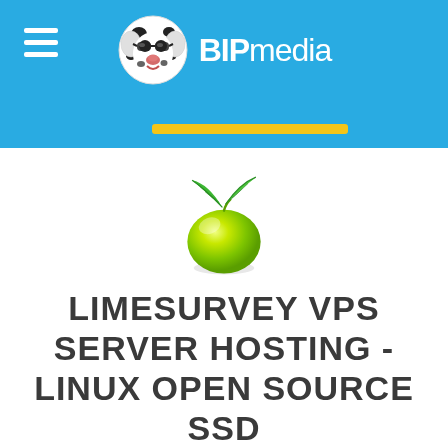BIPmedia
[Figure (logo): BIPmedia logo with dalmatian dog mascot wearing sunglasses and BIPmedia text]
[Figure (illustration): LimeSurvey lime fruit logo - a shiny green lime with two green leaves on top]
LIMESURVEY VPS SERVER HOSTING - LINUX OPEN SOURCE SSD